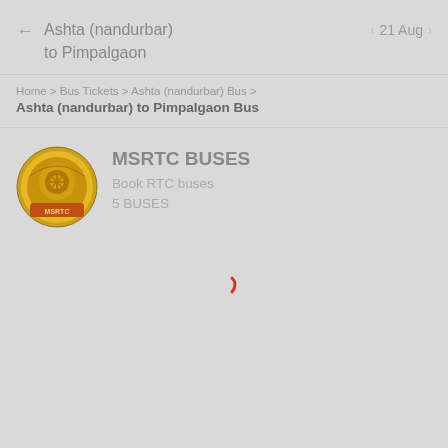Ashta (nandurbar) to Pimpalgaon
Home > Bus Tickets > Ashta (nandurbar) Bus > Ashta (nandurbar) to Pimpalgaon Bus
[Figure (logo): MSRTC circular emblem logo with yellow and orange design]
MSRTC BUSES
Book RTC buses
5 BUSES
[Figure (other): Red loading spinner arc indicator]